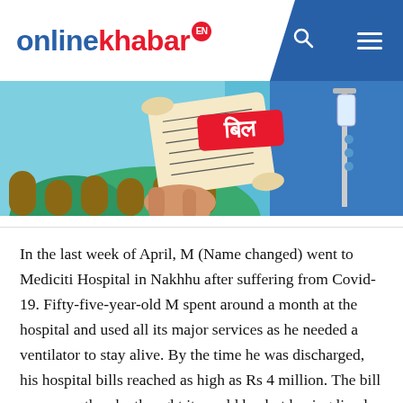onlinekhabar EN
[Figure (illustration): Illustration of a hospital bill (बिल in Nepali/Hindi) scroll with handwritten figures, held by a hand, with a medical IV drip stand in the background, set against a teal/blue background.]
In the last week of April, M (Name changed) went to Mediciti Hospital in Nakhhu after suffering from Covid-19. Fifty-five-year-old M spent around a month at the hospital and used all its major services as he needed a ventilator to stay alive. By the time he was discharged, his hospital bills reached as high as Rs 4 million. The bill was more than he thought it would be, but having lived, he took a loan and paid the